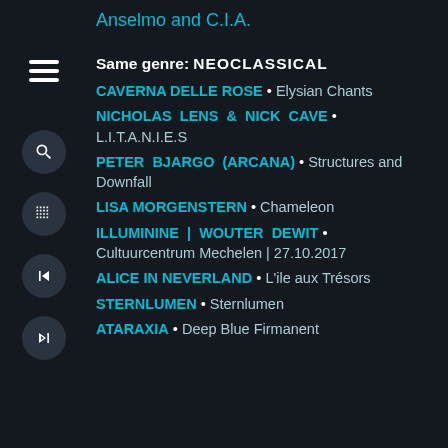Anselmo and C.I.A.
Same genre: NEOCLASSICAL
CAVERNA DELLE ROSE • Elysian Chants
NICHOLAS LENS & NICK CAVE • L.I.T.A.N.I.E.S
PETER BJARGO (ARCANA) • Structures and Downfall
LISA MORGENSTERN • Chameleon
ILLUMININE | WOUTER DEWIT • Cultuurcentrum Mechelen | 27.10.2017
ALICE IN NEVERLAND • L'ile aux Trésors
STERNLUMEN • Sternlumen
ATARAXIA • Deep Blue Firmanent